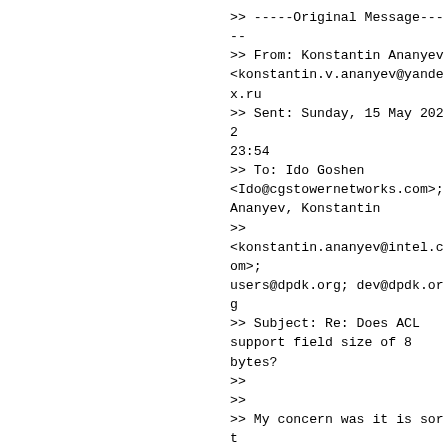>> -----Original Message-----
>> From: Konstantin Ananyev <konstantin.v.ananyev@yandex.ru
>> Sent: Sunday, 15 May 2022 23:54
>> To: Ido Goshen <Ido@cgstowernetworks.com>; Ananyev, Konstantin
>>
<konstantin.ananyev@intel.com>; users@dpdk.org; dev@dpdk.org
>> Subject: Re: Does ACL support field size of 8 bytes?
>>
>>
>> My concern was it is sort of awkward in terms of input_field value for rules with
>> 8B long.
>
> [idog] I'm always puzzled with the input_index field.
> I just randomly group the small size fields (u8, u16) without any applicative meaning.
> Feels like it's redundant in the API as can be dete...